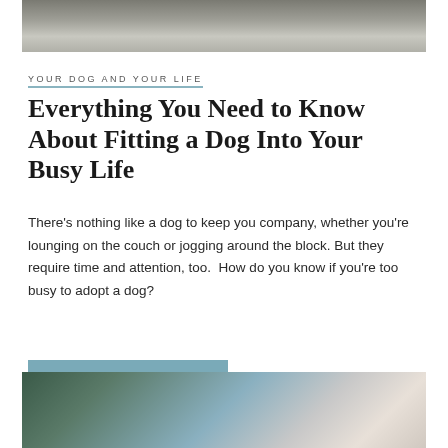[Figure (photo): Black and white photo of a dog outdoors, partially cropped at top of page]
YOUR DOG AND YOUR LIFE
Everything You Need to Know About Fitting a Dog Into Your Busy Life
There’s nothing like a dog to keep you company, whether you’re lounging on the couch or jogging around the block. But they require time and attention, too.  How do you know if you’re too busy to adopt a dog?
CONTINUE READING
[Figure (photo): Blurred photo at bottom of page showing a light-colored scene, partially cropped]